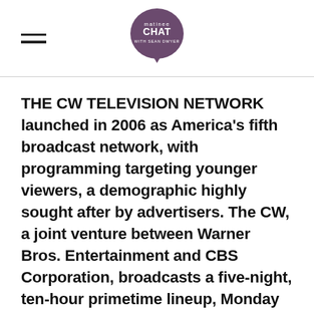matinee CHAT [logo]
THE CW TELEVISION NETWORK launched in 2006 as America’s fifth broadcast network, with programming targeting younger viewers, a demographic highly sought after by advertisers. The CW, a joint venture between Warner Bros. Entertainment and CBS Corporation, broadcasts a five-night, ten-hour primetime lineup, Monday through Friday. The CW’s primetime programming is also available to stream for free, without authentication, on the ad-supported cwtv.com and The CW app, now